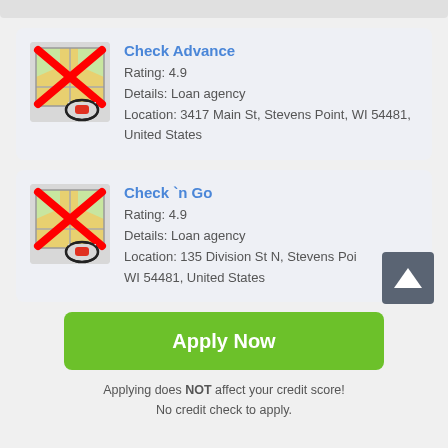[Figure (other): Listing card for Check Advance loan agency with map icon (red X overlay), rating 4.9, location 3417 Main St, Stevens Point, WI 54481, United States]
[Figure (other): Listing card for Check 'n Go loan agency with map icon (red X overlay), rating 4.9, location 135 Division St N, Stevens Point, WI 54481, United States. Scroll-to-top button visible.]
[Figure (other): Green Apply Now button]
Applying does NOT affect your credit score! No credit check to apply.